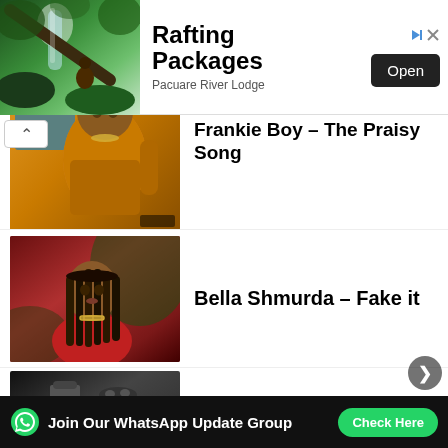[Figure (photo): Advertisement banner for Rafting Packages - Pacuare River Lodge with nature/waterfall image on left, text on right, and Open button]
Frankie Boy – The Praisy Song
[Figure (photo): Thumbnail of Frankie Boy in orange/yellow outfit sitting]
Bella Shmurda – Fake it
[Figure (photo): Thumbnail of Bella Shmurda with braids and red outfit]
Burna Boy – E Don Cast (Break Fast)
[Figure (photo): Black and white thumbnail of Burna Boy]
Join Our WhatsApp Update Group